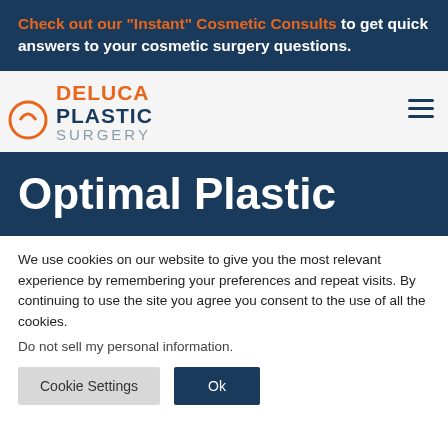Check out our "Instant" Cosmetic Consults to get quick answers to your cosmetic surgery questions.
[Figure (logo): DeLuca Plastic Surgery logo with orange DeLuca text, dark blue PLASTIC text, and gray SURGERY text]
Optimal Plastic
We use cookies on our website to give you the most relevant experience by remembering your preferences and repeat visits. By continuing to use the site you agree you consent to the use of all the cookies.
Do not sell my personal information.
Cookie Settings  Ok